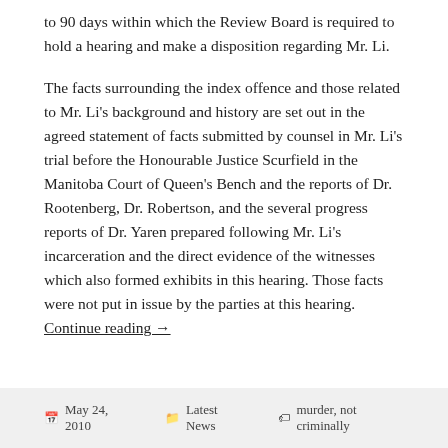to 90 days within which the Review Board is required to hold a hearing and make a disposition regarding Mr. Li.
The facts surrounding the index offence and those related to Mr. Li's background and history are set out in the agreed statement of facts submitted by counsel in Mr. Li's trial before the Honourable Justice Scurfield in the Manitoba Court of Queen's Bench and the reports of Dr. Rootenberg, Dr. Robertson, and the several progress reports of Dr. Yaren prepared following Mr. Li's incarceration and the direct evidence of the witnesses which also formed exhibits in this hearing. Those facts were not put in issue by the parties at this hearing. Continue reading →
May 24, 2010   Latest News   murder, not criminally